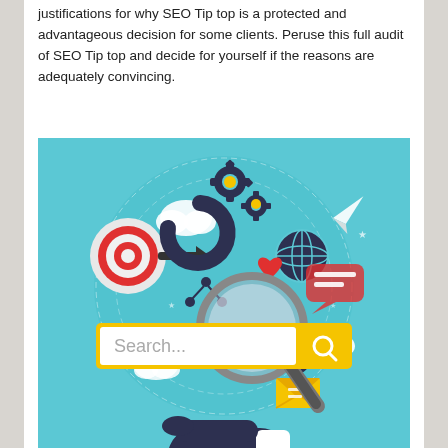justifications for why SEO Tip top is a protected and advantageous decision for some clients. Peruse this full audit of SEO Tip top and decide for yourself if the reasons are adequately convincing.
[Figure (illustration): An SEO infographic illustration showing a hand holding a magnifying glass over a search bar reading 'Search...' with a yellow border and search icon. Behind it is a light blue circular background with various digital marketing icons: a target/bullseye, a globe, gears, clouds, a paper plane, a chat bubble, an envelope, an eye, a heart, and a share icon.]